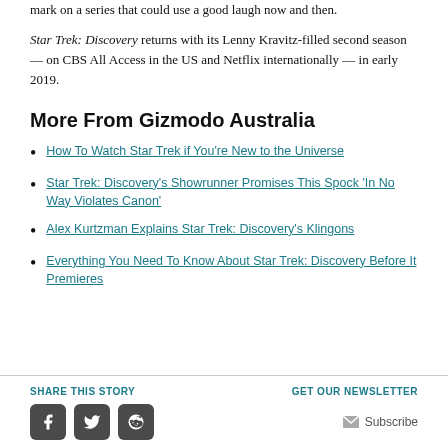mark on a series that could use a good laugh now and then.
Star Trek: Discovery returns with its Lenny Kravitz-filled second season — on CBS All Access in the US and Netflix internationally — in early 2019.
More From Gizmodo Australia
How To Watch Star Trek if You're New to the Universe
Star Trek: Discovery's Showrunner Promises This Spock 'In No Way Violates Canon'
Alex Kurtzman Explains Star Trek: Discovery's Klingons
Everything You Need To Know About Star Trek: Discovery Before It Premieres
SHARE THIS STORY   GET OUR NEWSLETTER   Subscribe